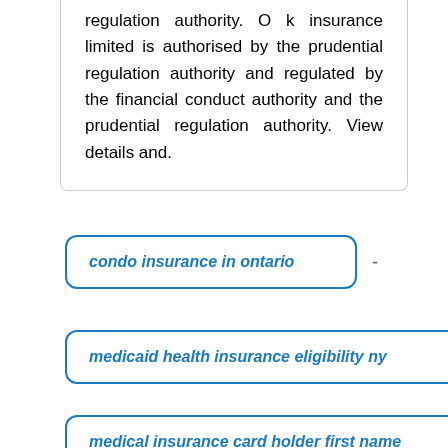regulation authority. O k insurance limited is authorised by the prudential regulation authority and regulated by the financial conduct authority and the prudential regulation authority. View details and.
condo insurance in ontario -
medicaid health insurance eligibility ny -
medical insurance card holder first name -